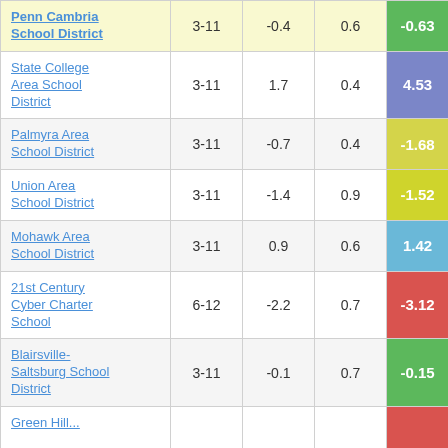| School/District | Grades | Col3 | Col4 | Score |
| --- | --- | --- | --- | --- |
| Penn Cambria School District | 3-11 | -0.4 | 0.6 | -0.63 |
| State College Area School District | 3-11 | 1.7 | 0.4 | 4.53 |
| Palmyra Area School District | 3-11 | -0.7 | 0.4 | -1.68 |
| Union Area School District | 3-11 | -1.4 | 0.9 | -1.52 |
| Mohawk Area School District | 3-11 | 0.9 | 0.6 | 1.42 |
| 21st Century Cyber Charter School | 6-12 | -2.2 | 0.7 | -3.12 |
| Blairsville-Saltsburg School District | 3-11 | -0.1 | 0.7 | -0.15 |
| Green Hill... |  |  |  |  |